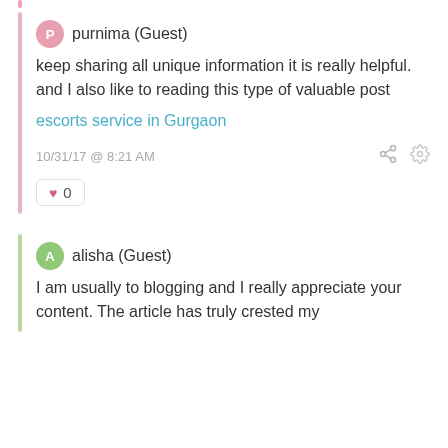purnima (Guest)
keep sharing all unique information it is really helpful. and I also like to reading this type of valuable post
escorts service in Gurgaon
10/31/17 @ 8:21 AM
0
alisha (Guest)
I am usually to blogging and I really appreciate your content. The article has truly crested my